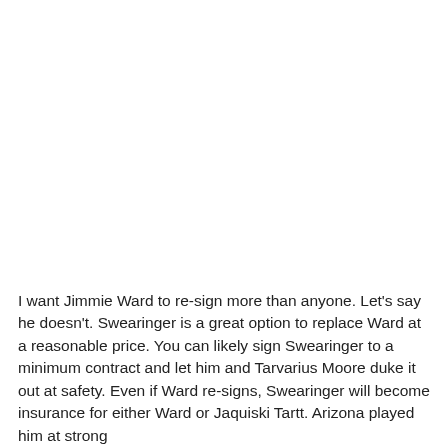I want Jimmie Ward to re-sign more than anyone. Let's say he doesn't. Swearinger is a great option to replace Ward at a reasonable price. You can likely sign Swearinger to a minimum contract and let him and Tarvarius Moore duke it out at safety. Even if Ward re-signs, Swearinger will become insurance for either Ward or Jaquiski Tartt. Arizona played him at strong